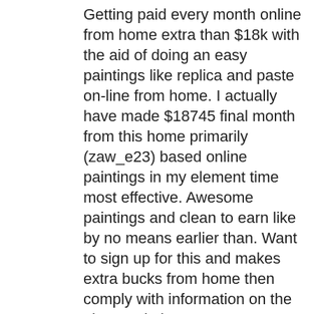Getting paid every month online from home extra than $18k with the aid of doing an easy paintings like replica and paste on-line from home. I actually have made $18745 final month from this home primarily (zaw_e23) based online paintings in my element time most effective. Awesome paintings and clean to earn like by no means earlier than. Want to sign up for this and makes extra bucks from home then comply with information on the given website.
.
>>>>>>>>>>>>>
http://payclick24.blogspot.com/
Reply